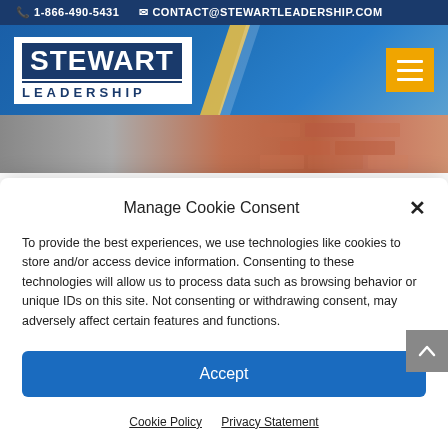📞 1-866-490-5431  ✉ CONTACT@STEWARTLEADERSHIP.COM
[Figure (logo): Stewart Leadership logo with blue background and yellow diagonal accent, hamburger menu button in gold]
[Figure (photo): Blurred brick wall background photo]
Manage Cookie Consent
To provide the best experiences, we use technologies like cookies to store and/or access device information. Consenting to these technologies will allow us to process data such as browsing behavior or unique IDs on this site. Not consenting or withdrawing consent, may adversely affect certain features and functions.
Accept
Cookie Policy  Privacy Statement